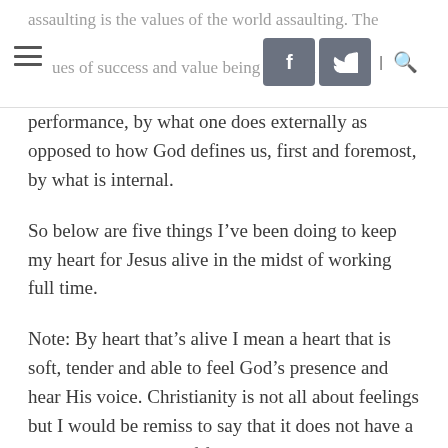assaulting is the values of the world assaulting. The values of success and value being defined by performance, by what one does externally as opposed to how God defines us, first and foremost, by what is internal.
So below are five things I've been doing to keep my heart for Jesus alive in the midst of working full time.
Note: By heart that's alive I mean a heart that is soft, tender and able to feel God's presence and hear His voice. Christianity is not all about feelings but I would be remiss to say that it does not have a dynamic dimension of feeling to it. God still loves me when I don't feel it but when I do feel it it empowers me to love Him in return and to stay connected with Him. We were